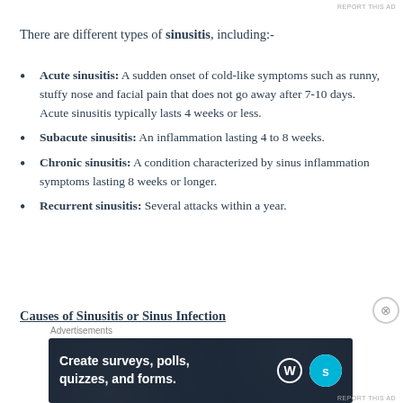There are different types of sinusitis, including:-
Acute sinusitis: A sudden onset of cold-like symptoms such as runny, stuffy nose and facial pain that does not go away after 7-10 days. Acute sinusitis typically lasts 4 weeks or less.
Subacute sinusitis: An inflammation lasting 4 to 8 weeks.
Chronic sinusitis: A condition characterized by sinus inflammation symptoms lasting 8 weeks or longer.
Recurrent sinusitis: Several attacks within a year.
Causes of Sinusitis or Sinus Infection
[Figure (screenshot): Advertisement banner: 'Create surveys, polls, quizzes, and forms.' with WordPress and SurveyMonkey logos on dark background]